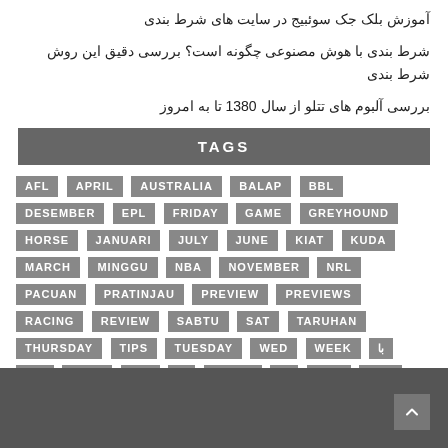آموزش بلک جک سوئبیج در سایت های شرط بندی
شرط بندی با هوش مصنوعی چگونه است؟ بررسی دقیق این روش شرط بندی
بررسی آلبوم های تتلو از سال 1380 تا به امروز
TAGS
AFL APRIL AUSTRALIA BALAP BBL DESEMBER EPL FRIDAY GAME GREYHOUND HORSE JANUARI JULY JUNE KIAT KUDA MARCH MINGGU NBA NOVEMBER NRL PACUAN PRATINJAU PREVIEW PREVIEWS RACING REVIEW SABTU SAT TARUHAN THURSDAY TIPS TUESDAY WED WEEK با بازی بررسی بندی به بیوگرافی در سایت شرط های